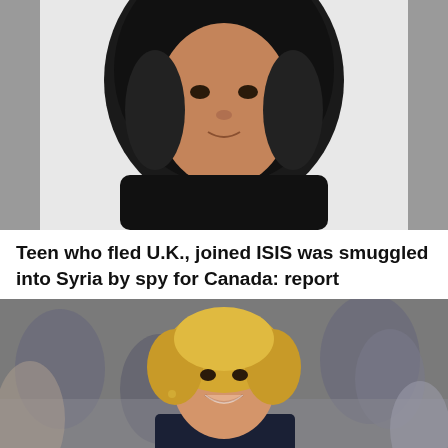[Figure (photo): Portrait photo of a young woman wearing a black hijab, facing forward, against a white background, with gray borders on the sides.]
Teen who fled U.K., joined ISIS was smuggled into Syria by spy for Canada: report
[Figure (photo): Photo of a smiling blonde woman in the foreground with a crowd of people blurred in the background, dressed in formal attire.]